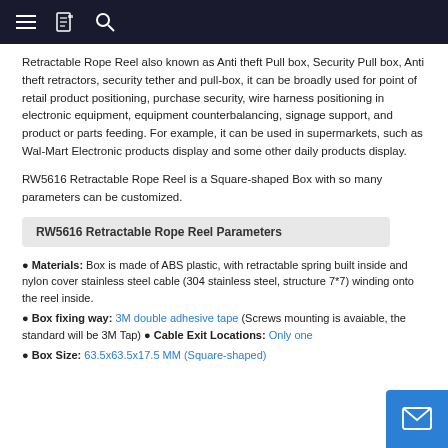≡ [icon] 🔍
Retractable Rope Reel also known as Anti theft Pull box, Security Pull box, Anti theft retractors, security tether and pull-box, it can be broadly used for point of retail product positioning, purchase security, wire harness positioning in electronic equipment, equipment counterbalancing, signage support, and product or parts feeding. For example, it can be used in supermarkets, such as Wal-Mart Electronic products display and some other daily products display.
RW5616 Retractable Rope Reel is a Square-shaped Box with so many parameters can be customized.
RW5616 Retractable Rope Reel Parameters
● Materials: Box is made of ABS plastic, with retractable spring built inside and nylon cover stainless steel cable (304 stainless steel, structure 7*7) winding onto the reel inside.
● Box fixing way: 3M double adhesive tape (Screws mounting is avaiable, the standard will be 3M Tap) ● Cable Exit Locations: Only one
● Box Size: 63.5x63.5x17.5 MM (Square-shaped)